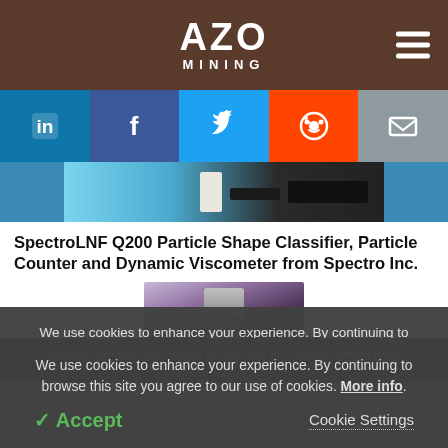AZO MINING
[Figure (screenshot): Social sharing buttons: LinkedIn, Facebook, Twitter, Reddit, Email]
[Figure (photo): Banner image with keyboard and equipment on blue background]
SpectroLNF Q200 Particle Shape Classifier, Particle Counter and Dynamic Viscometer from Spectro Inc.
[Figure (photo): Product photo of SpectroLNF Q200 instrument on dark background]
We use cookies to enhance your experience. By continuing to browse this site you agree to our use of cookies. More info.
✓ Accept   Cookie Settings